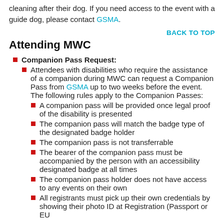cleaning after their dog. If you need access to the event with a guide dog, please contact GSMA.
BACK TO TOP
Attending MWC
Companion Pass Request:
Attendees with disabilities who require the assistance of a companion during MWC can request a Companion Pass from GSMA up to two weeks before the event. The following rules apply to the Companion Passes:
A companion pass will be provided once legal proof of the disability is presented
The companion pass will match the badge type of the designated badge holder
The companion pass is not transferrable
The bearer of the companion pass must be accompanied by the person with an accessibility designated badge at all times
The companion pass holder does not have access to any events on their own
All registrants must pick up their own credentials by showing their photo ID at Registration (Passport or EU